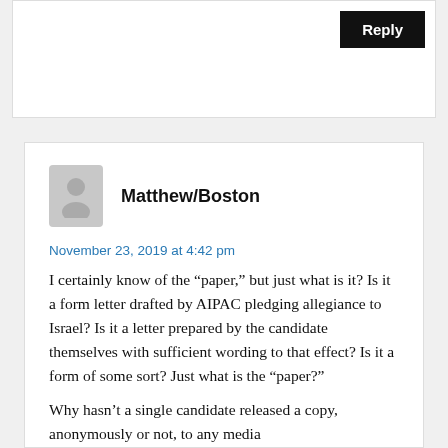Reply
Matthew/Boston
November 23, 2019 at 4:42 pm
I certainly know of the “paper,” but just what is it? Is it a form letter drafted by AIPAC pledging allegiance to Israel? Is it a letter prepared by the candidate themselves with sufficient wording to that effect? Is it a form of some sort? Just what is the “paper?”
Why hasn’t a single candidate released a copy, anonymously or not, to any media